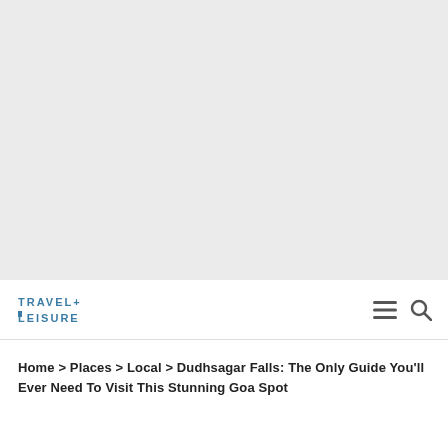[Figure (logo): Travel + Leisure logo in blue bold text]
Home > Places > Local > Dudhsagar Falls: The Only Guide You'll Ever Need To Visit This Stunning Goa Spot